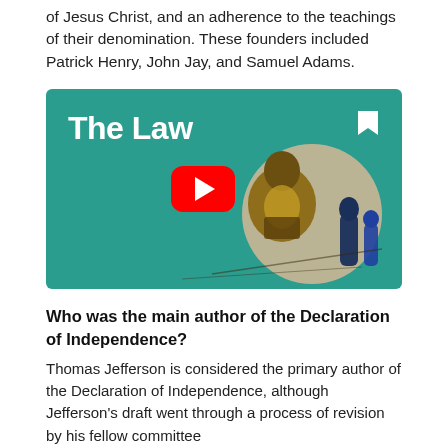of Jesus Christ, and an adherence to the teachings of their denomination. These founders included Patrick Henry, John Jay, and Samuel Adams.
[Figure (screenshot): YouTube video thumbnail with teal background showing the title 'The Law' in large white bold text, a red YouTube play button in the center, a bookmark icon in the top right, and an illustrated scene with silhouetted human figures on the right side.]
Who was the main author of the Declaration of Independence?
Thomas Jefferson is considered the primary author of the Declaration of Independence, although Jefferson's draft went through a process of revision by his fellow committee